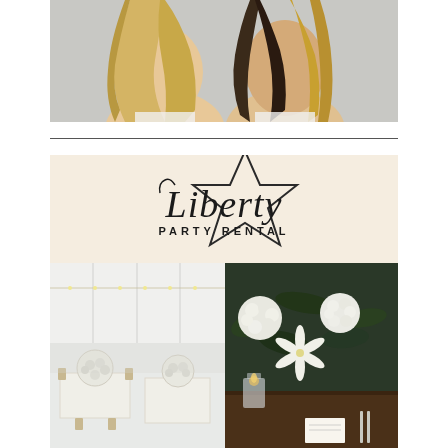[Figure (photo): Two women with long wavy blonde/brunette hair, wearing white, photographed from above the shoulders]
[Figure (logo): Liberty Party Rental logo — script text 'Liberty' with a star shape in the background on a cream/beige background, with 'PARTY RENTAL' in uppercase below]
[Figure (photo): Wedding tent interior with white tent ceiling, string lights, and floral centerpieces with hydrangeas on tables]
[Figure (photo): Close-up of wedding table setting with white flowers (hydrangeas and lilies), greenery, candles in glass holders, and place cards on a wooden table]